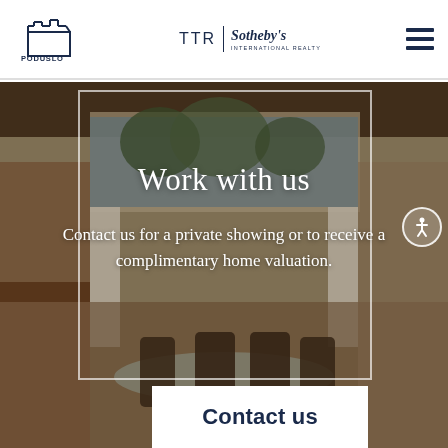PODUSLO GROUP | TTR Sotheby's International Realty
[Figure (photo): Interior of a luxury home showing dining area with dark chairs, glass table, open-plan kitchen, floor-to-ceiling windows with trees outside, and white curtains.]
Work with us
Contact us for a private showing or to receive a complimentary home valuation.
Contact us